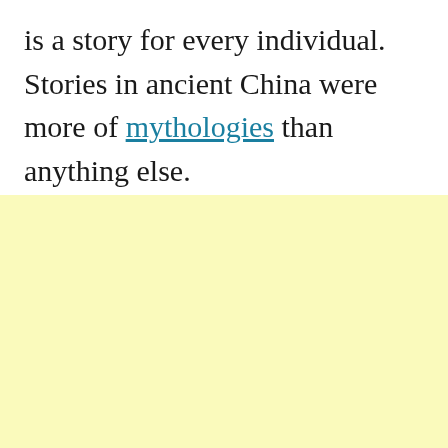is a story for every individual. Stories in ancient China were more of mythologies than anything else.